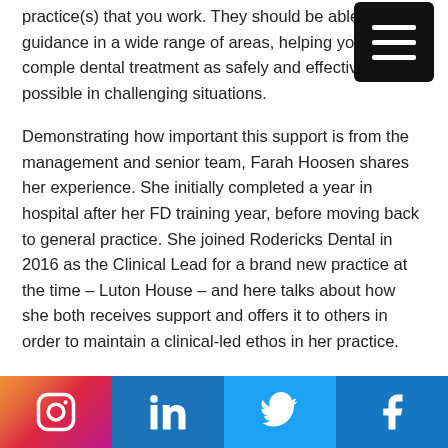practice(s) that you work. They should be able to offer guidance in a wide range of areas, helping you complete dental treatment as safely and effectively as possible in challenging situations.
Demonstrating how important this support is from the management and senior team, Farah Hoosen shares her experience. She initially completed a year in hospital after her FD training year, before moving back to general practice. She joined Rodericks Dental in 2016 as the Clinical Lead for a brand new practice at the time – Luton House – and here talks about how she both receives support and offers it to others in order to maintain a clinical-led ethos in her practice.
“The initial induction course for the Clinical Lead role covered all the situations I would likely encounter. Topics included mentoring, common problems GDPs face and how to